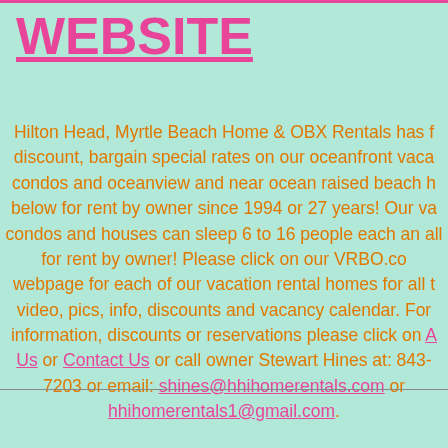WEBSITE
Hilton Head, Myrtle Beach Home & OBX Rentals has discount, bargain special rates on our oceanfront vacation condos and oceanview and near ocean raised beach homes below for rent by owner since 1994 or 27 years! Our vacation condos and houses can sleep 6 to 16 people each and are all for rent by owner! Please click on our VRBO.com webpage for each of our vacation rental homes for all our video, pics, info, discounts and vacancy calendar. For information, discounts or reservations please click on About Us or Contact Us or call owner Stewart Hines at: 843-[...]7203 or email: shines@hhihomerentals.com or hhihomerentals1@gmail.com.